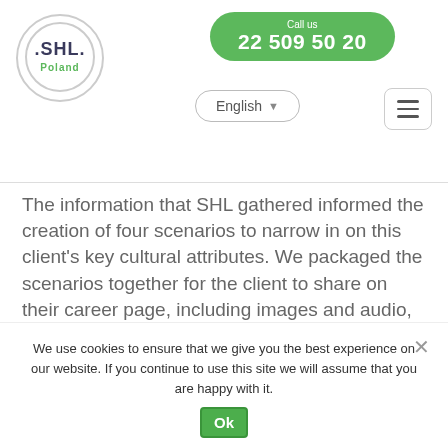[Figure (logo): SHL Poland circular logo with text SHL in dark blue and Poland in green]
Call us 22 509 50 20 | English | Menu
The information that SHL gathered informed the creation of four scenarios to narrow in on this client’s key cultural attributes. We packaged the scenarios together for the client to share on their career page, including images and audio, for interested candidates to gain insight into the client’s organizational culture before applying for a job. SHL can also provide animated videos or live footage to showcase a client’s attributes.
We use cookies to ensure that we give you the best experience on our website. If you continue to use this site we will assume that you are happy with it.